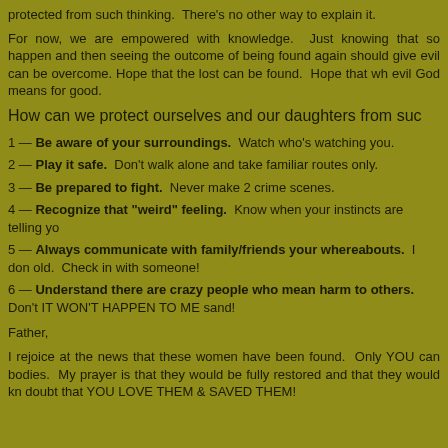protected from such thinking.  There's no other way to explain it.
For now, we are empowered with knowledge.  Just knowing that so happen and then seeing the outcome of being found again should give evil can be overcome. Hope that the lost can be found.  Hope that wh evil God means for good.
How can we protect ourselves and our daughters from suc
1 — Be aware of your surroundings.  Watch who's watching you.
2 — Play it safe.  Don't walk alone and take familiar routes only.
3 — Be prepared to fight.  Never make 2 crime scenes.
4 — Recognize that "weird" feeling.  Know when your instincts are telling yo
5 — Always communicate with family/friends your whereabouts.  I don old.  Check in with someone!
6 — Understand there are crazy people who mean harm to others.  Don't IT WON'T HAPPEN TO ME sand!
Father,
I rejoice at the news that these women have been found.  Only YOU can bodies.  My prayer is that they would be fully restored and that they would kn doubt that YOU LOVE THEM & SAVED THEM!